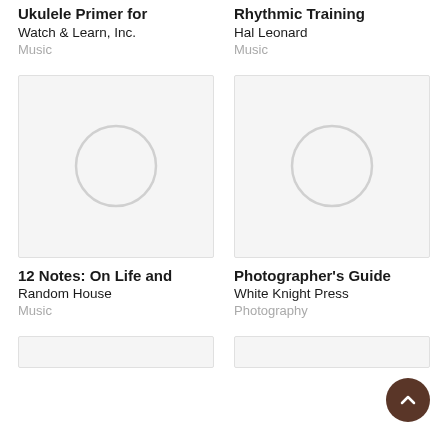Ukulele Primer for
Watch & Learn, Inc.
Music
Rhythmic Training
Hal Leonard
Music
[Figure (illustration): Book cover placeholder with light gray background and a gray circle in the center, bordered by a light gray rectangle]
12 Notes: On Life and
Random House
Music
[Figure (illustration): Book cover placeholder with light gray background and a gray circle in the center, bordered by a light gray rectangle]
Photographer's Guide
White Knight Press
Photography
[Figure (illustration): Partial book cover placeholder at bottom left, bordered by a light gray rectangle]
[Figure (illustration): Partial book cover placeholder at bottom right, bordered by a light gray rectangle]